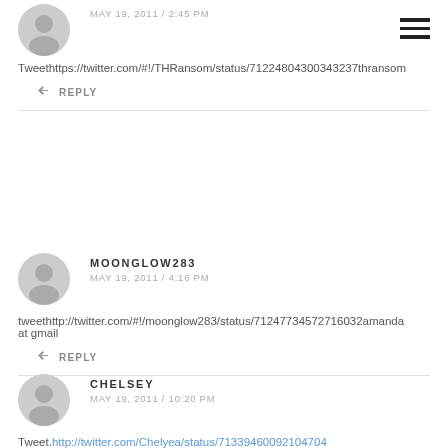MAY 19, 2011 / 2:45 PM
Tweethttps://twitter.com/#!/THRansom/status/71224804300343237thransom
REPLY
MOONGLOW283
MAY 19, 2011 / 4:16 PM
tweethttp://twitter.com/#!/moonglow283/status/71247734572716032amanda at gmail
REPLY
CHELSEY
MAY 19, 2011 / 10:20 PM
Tweet.http://twitter.com/Chelyea/status/71339460092104704
REPLY